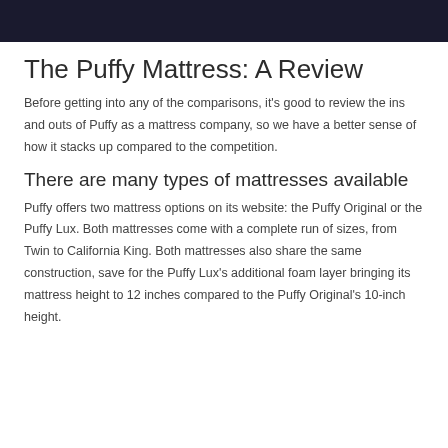[Figure (photo): Dark hero image banner at the top of the page]
The Puffy Mattress: A Review
Before getting into any of the comparisons, it's good to review the ins and outs of Puffy as a mattress company, so we have a better sense of how it stacks up compared to the competition.
There are many types of mattresses available
Puffy offers two mattress options on its website: the Puffy Original or the Puffy Lux. Both mattresses come with a complete run of sizes, from Twin to California King. Both mattresses also share the same construction, save for the Puffy Lux's additional foam layer bringing its mattress height to 12 inches compared to the Puffy Original's 10-inch height.